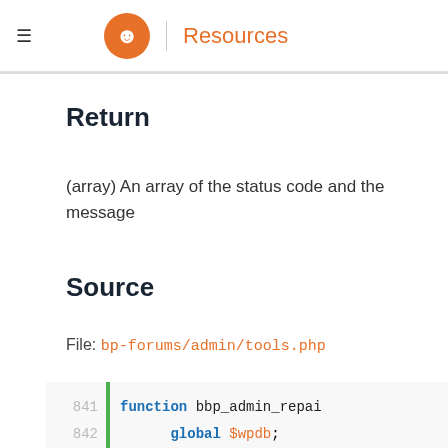Resources
Return
(array) An array of the status code and the message
Source
File: bp-forums/admin/tools.php
[Figure (screenshot): PHP code block showing lines 841-845 of bp-forums/admin/tools.php with function bbp_admin_repair, global $wpdb, $statement = __( 'Re..., $result = __( 'Fa...]